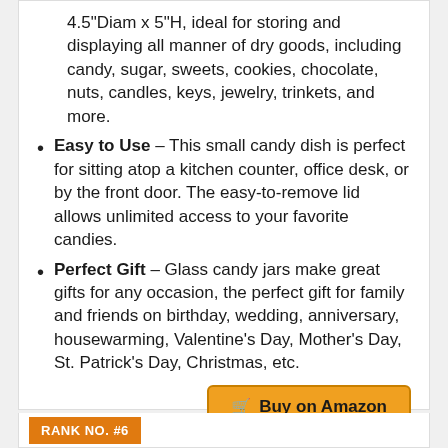4.5"Diam x 5"H, ideal for storing and displaying all manner of dry goods, including candy, sugar, sweets, cookies, chocolate, nuts, candles, keys, jewelry, trinkets, and more.
Easy to Use - This small candy dish is perfect for sitting atop a kitchen counter, office desk, or by the front door. The easy-to-remove lid allows unlimited access to your favorite candies.
Perfect Gift - Glass candy jars make great gifts for any occasion, the perfect gift for family and friends on birthday, wedding, anniversary, housewarming, Valentine's Day, Mother's Day, St. Patrick's Day, Christmas, etc.
Buy on Amazon
RANK NO. #6